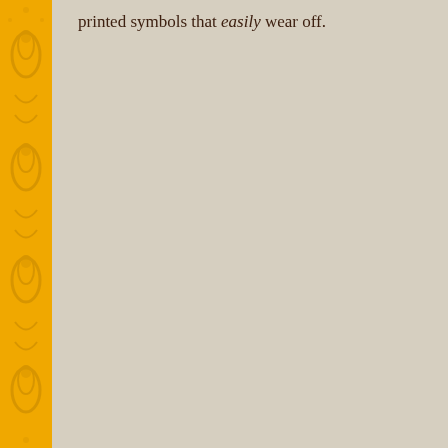printed symbols that easily wear off.